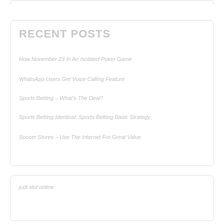RECENT POSTS
How November 23 In An Isolated Poker Game
WhatsApp Users Get Voice Calling Feature
Sports Betting – What's The Deal?
Sports Betting Identical: Sports Betting Basic Strategy
Soccer Stores – Use The Internet For Great Value
judi slot online